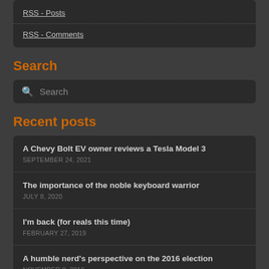RSS - Posts
RSS - Comments
Search
Search
Recent posts
A Chevy Bolt EV owner reviews a Tesla Model 3
SEPTEMBER 24, 2021
The importance of the noble keyboard warrior
JULY 8, 2020
I'm back (for reals this time)
FEBRUARY 27, 2019
A humble nerd's perspective on the 2016 election
NOVEMBER 9, 2016